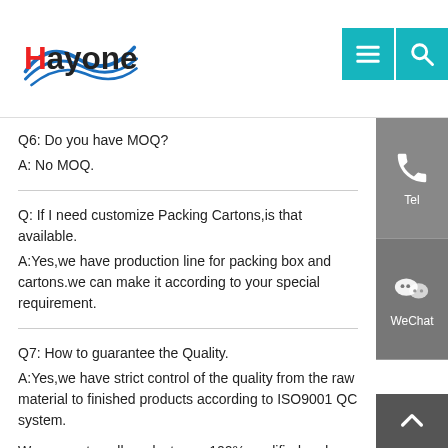Hayonex
Q6: Do you have MOQ?
A: No MOQ.
Q: If I need customize Packing Cartons,is that available.
A:Yes,we have production line for packing box and cartons.we can make it according to your special requirement.
Q7: How to guarantee the Quality.
A:Yes,we have strict control of the quality from the raw material to finished products according to ISO9001 QC system.
We guarantee all products are 100% qualified and backed by lifetime warranty.